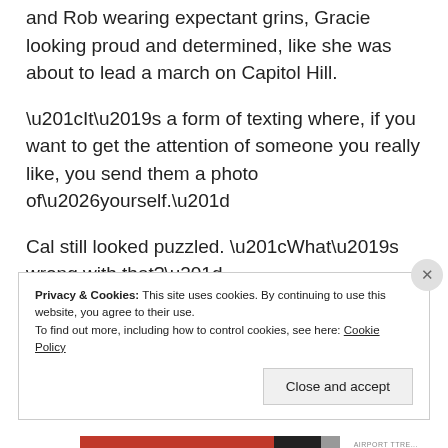and Rob wearing expectant grins, Gracie looking proud and determined, like she was about to lead a march on Capitol Hill.
“It’s a form of texting where, if you want to get the attention of someone you really like, you send them a photo of…yourself.”
Cal still looked puzzled. “What’s wrong with that?”
Privacy & Cookies: This site uses cookies. By continuing to use this website, you agree to their use.
To find out more, including how to control cookies, see here: Cookie Policy
Close and accept